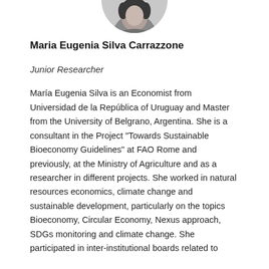[Figure (photo): Black and white headshot photo of Maria Eugenia Silva Carrazzone, cropped to show head/shoulders, displayed in a circular frame at the top of the page]
Maria Eugenia Silva Carrazzone
Junior Researcher
María Eugenia Silva is an Economist from Universidad de la República of Uruguay and Master from the University of Belgrano, Argentina. She is a consultant in the Project "Towards Sustainable Bioeconomy Guidelines" at FAO Rome and previously, at the Ministry of Agriculture and as a researcher in different projects. She worked in natural resources economics, climate change and sustainable development, particularly on the topics Bioeconomy, Circular Economy, Nexus approach, SDGs monitoring and climate change. She participated in inter-institutional boards related to